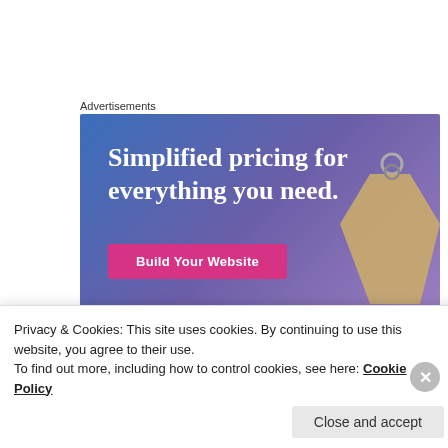Advertisements
[Figure (illustration): Advertisement banner with gradient blue-purple background, text 'Simplified pricing for everything you need.', a pink 'Build Your Website' button, and a price tag image on the right.]
RISHIKA JAIN
Privacy & Cookies: This site uses cookies. By continuing to use this website, you agree to their use.
To find out more, including how to control cookies, see here: Cookie Policy
Close and accept